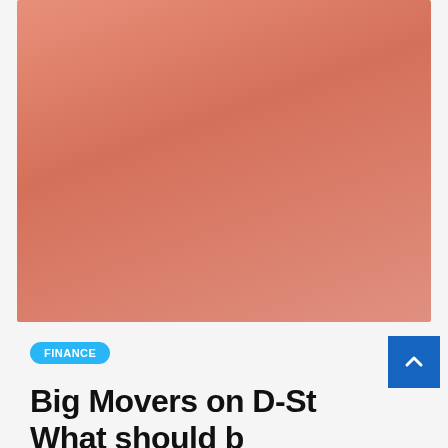[Figure (photo): Salmon/coral colored background image placeholder, rectangular, covering the upper portion of the page]
FINANCE
Big Movers on D-St What should b...